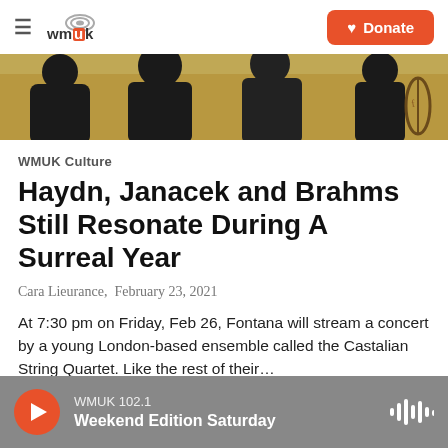WMUK ☰ Donate
[Figure (photo): Cropped bottom portion of a photo showing musicians in black attire with instruments, yellow/warm background]
WMUK Culture
Haydn, Janacek and Brahms Still Resonate During A Surreal Year
Cara Lieurance,  February 23, 2021
At 7:30 pm on Friday, Feb 26, Fontana will stream a concert by a young London-based ensemble called the Castalian String Quartet. Like the rest of their…
▶ LISTEN • 23:55
WMUK 102.1 Weekend Edition Saturday